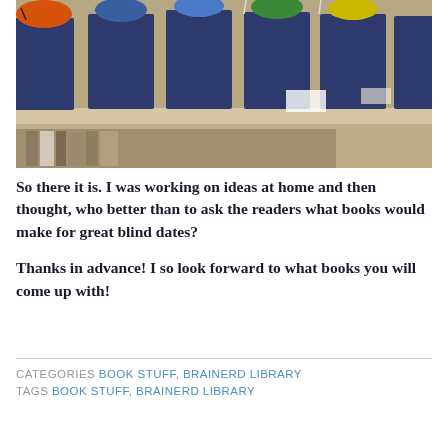[Figure (photo): A row of blue paper bag book covers on a library shelf. Each bag has a colorful paper cutout shape on top (orange, blue, green, yellow). Books are visible on the shelf below.]
So there it is. I was working on ideas at home and then thought, who better than to ask the readers what books would make for great blind dates?
Thanks in advance!  I so look forward to what books you will come up with!
CATEGORIES  BOOK STUFF, BRAINERD LIBRARY
TAGS  BOOK STUFF, BRAINERD LIBRARY